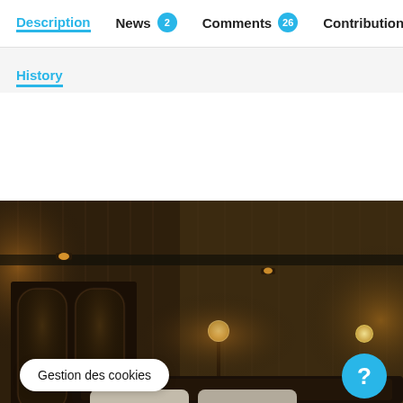Description | News 2 | Comments 26 | Contributions 1
History
[Figure (photo): Dimly lit hotel room interior with wood-paneled walls, warm sconce lighting, arched mirror wardrobe on left, bed in foreground with white pillows, dark moody atmosphere.]
Gestion des cookies